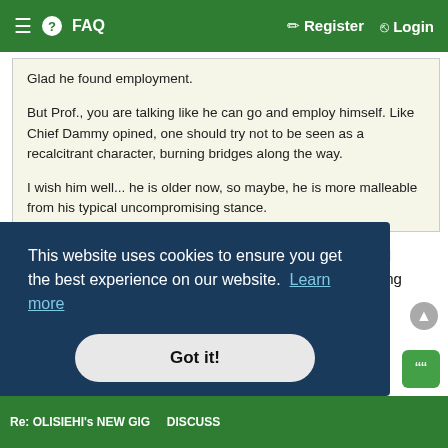≡ ? FAQ    Register  Login
Glad he found employment.

But Prof., you are talking like he can go and employ himself. Like Chief Dammy opined, one should try not to be seen as a recalcitrant character, burning bridges along the way.

I wish him well... he is older now, so maybe, he is more malleable from his typical uncompromising stance.
...not everyone of us, especially those that have lived and worked abroad, understand African point of view on solving problems.
This website uses cookies to ensure you get the best experience on our website. Learn more
Got it!
Re: OLISIEHI's NEW GIG ... DISCUSS